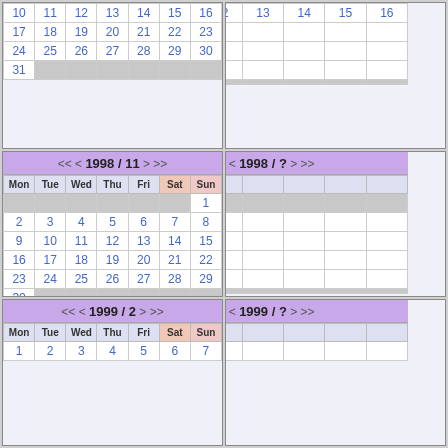| Mon | Tue | Wed | Thu | Fri | Sat | Sun |
| --- | --- | --- | --- | --- | --- | --- |
| 10 | 11 | 12 | 13 | 14 | 15 | 16 |
| 17 | 18 | 19 | 20 | 21 | 22 | 23 |
| 24 | 25 | 26 | 27 | 28 | 29 | 30 |
| 31 |  |  |  |  |  |  |
| Mon | Tue |
| --- | --- |
| 14 |  |
| 21 |  |
| 28 |  |
| Mon | Tue | Wed | Thu | Fri | Sat | Sun |
| --- | --- | --- | --- | --- | --- | --- |
|  |  |  |  |  |  | 1 |
| 2 | 3 | 4 | 5 | 6 | 7 | 8 |
| 9 | 10 | 11 | 12 | 13 | 14 | 15 |
| 16 | 17 | 18 | 19 | 20 | 21 | 22 |
| 23 | 24 | 25 | 26 | 27 | 28 | 29 |
| 30 |  |  |  |  |  |  |
| Mon | T |
| --- | --- |
|  | 1 |
| 7 | 8 |
| 14 |  |
| 21 |  |
| 28 |  |
| Mon | Tue | Wed | Thu | Fri | Sat | Sun |
| --- | --- | --- | --- | --- | --- | --- |
| 1 | 2 | 3 | 4 | 5 | 6 | 7 |
| Mon | T |
| --- | --- |
| 1 |  |